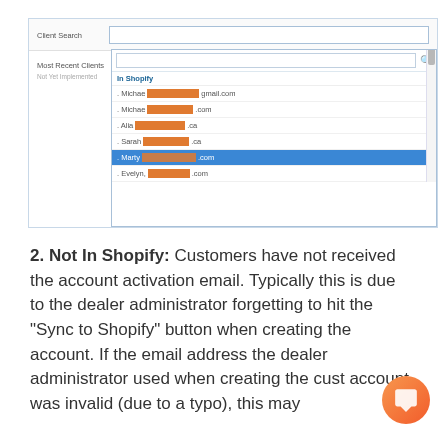[Figure (screenshot): A UI screenshot showing a 'Client Search' dropdown interface with 'Most Recent Clients / Not Yet Implemented' label on the left, an 'In Shopify' section in the dropdown listing several client names with email addresses (some redacted with orange blocks): Michael ...@gmail.com, Michael ...@.com, Alia ...@.ca, Sarah ...@.ca, Marty ...@com (highlighted in blue), Evelyn ...@.com]
2. Not In Shopify: Customers have not received the account activation email. Typically this is due to the dealer administrator forgetting to hit the "Sync to Shopify" button when creating the account. If the email address the dealer administrator used when creating the cust account was invalid (due to a typo), this may